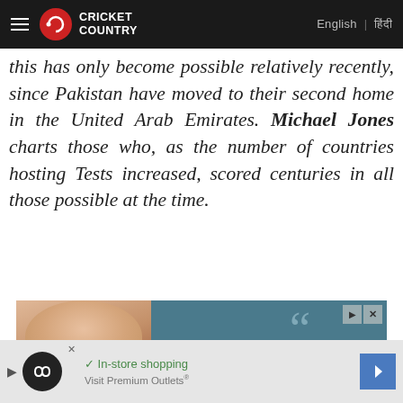Cricket Country | English | हिंदी
this has only become possible relatively recently, since Pakistan have moved to their second home in the United Arab Emirates. Michael Jones charts those who, as the number of countries hosting Tests increased, scored centuries in all those possible at the time.
[Figure (photo): Advertisement featuring a Sikh man with turban and beard on left side, and quote text on right: 'Khan remains supremely physically expressive - THE GUARDIAN' and partial 'A luxuriantly produced' on teal/blue-grey background]
[Figure (photo): Bottom advertisement bar with Infinity loop logo, checkmark icon, 'In-store shopping' text, and blue arrow button with 'Visit Premium Outlets®' text]